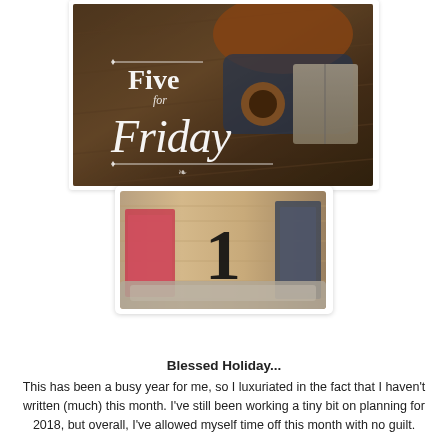[Figure (photo): Overhead photo of a person sitting on a wooden floor with a coffee cup and open book, with decorative text overlay reading 'Five for Friday' in white script and serif fonts.]
[Figure (photo): Photo of books and a cozy blanket on a wooden surface with the large numeral '1' centered in the image.]
Blessed Holiday...
This has been a busy year for me, so I luxuriated in the fact that I haven't written (much) this month. I've still been working a tiny bit on planning for 2018, but overall, I've allowed myself time off this month with no guilt.